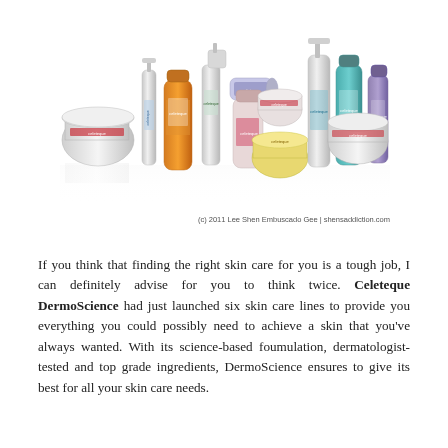[Figure (photo): A collection of Celeteque DermoScience skin care product bottles, tubes, jars, and containers arranged in a group against a white background.]
(c) 2011 Lee Shen Embuscado Gee | shensaddiction.com
If you think that finding the right skin care for you is a tough job, I can definitely advise for you to think twice. Celeteque DermoScience had just launched six skin care lines to provide you everything you could possibly need to achieve a skin that you've always wanted. With its science-based foumulation, dermatologist-tested and top grade ingredients, DermoScience ensures to give its best for all your skin care needs.